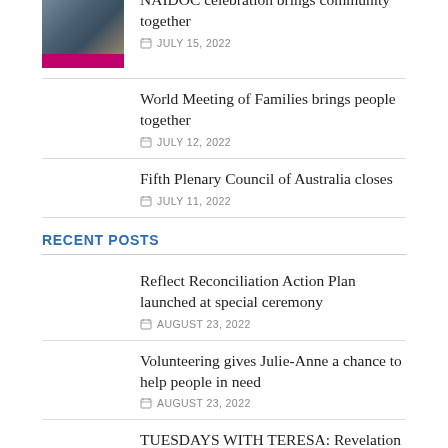NAIDOC celebration brings community together — JULY 15, 2022
World Meeting of Families brings people together — JULY 12, 2022
Fifth Plenary Council of Australia closes — JULY 11, 2022
RECENT POSTS
Reflect Reconciliation Action Plan launched at special ceremony — AUGUST 23, 2022
Volunteering gives Julie-Anne a chance to help people in need — AUGUST 23, 2022
TUESDAYS WITH TERESA: Revelation from the Word of God in the Scriptures — AUGUST 23, 2022